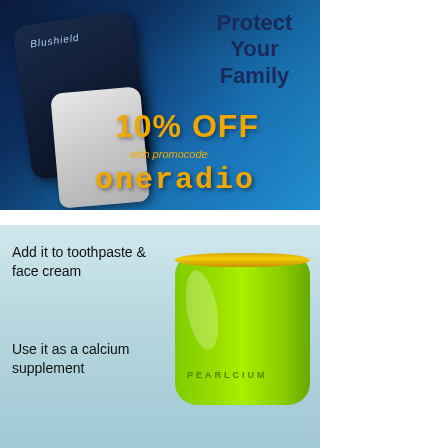[Figure (infographic): Blushield advertisement. Blue background with electronic devices (dark tablet and light device). Text: 'Protect Your Family', '10% OFF', 'with promocode', 'oneradio'. Discount code in yellow/gold color.]
[Figure (infographic): Pearlcium product advertisement. Blue/teal beach background with a bright green jar with gold rim labeled PEARLCIUM. Text: 'Add it to toothpaste & face cream', 'Use it as a calcium supplement'.]